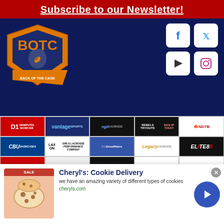Subscribe to our Newsletter!
[Figure (logo): Back of the Cage (BOTC) lacrosse website logo - orange and dark blue shield with lacrosse player graphic]
[Figure (infographic): Social media icons: Facebook, Twitter, Google Play, Instagram - white on dark background]
[Figure (infographic): Sponsor logos grid: D1 Undisputed Showcase, Vantage Sports, NGLL Lacrosse, Rebels Lacrosse Tryouts, NDTB, CBU Showcases, Lax On Girls Lacrosse, DS Outfitters, Legacy Lacrosse, Elite80, Undisputed Showcase D1, 365, Express Lacrosse, team logo, ConnectLax]
Fall Showcases are Now O
BackOfTheCage > Forums > Register Log In
NORTHEAST LACROSSE > BOTC MAIN FORUM > Girls 2023-11th Grade Fall 2021/Summer 2022
HOME EVENTS BLOGS FORUMS MEMBER LIST
[Figure (infographic): Advertisement: Cheryl's Cookie Delivery - we have an amazing variety of different types of cookies - cheryls.com]